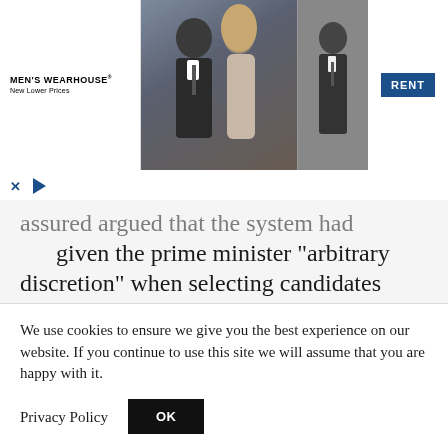[Figure (photo): Men's Wearhouse advertisement banner showing a couple in formalwear and a man in a suit, with a RENT button]
assured argued that the system had given the prime minister “arbitrary discretion” when selecting candidates and said that some appointments, specifically from April 2019, should be ruled invalid.
News that the government had hired
We use cookies to ensure we give you the best experience on our website. If you continue to use this site we will assume that you are happy with it.
Privacy Policy
OK